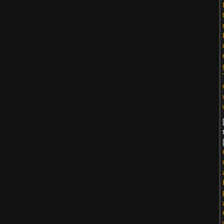Primary teacher resume
Esl university essay gho
Top cv writers websites
[b:60330ea2cf]Pay t [/b:60330ea2cf]
Certified usability analys
Research proposal alco
Course work proofreadi
Essay about christmas t
http://buyessayreviews.c
Pay to get life sciene
Argumentative essa
Plastic resume sam
[b:60330ea2cf]Pay t [/b:60330ea2cf]
Law essay competition -
How to write a cv examp
Apply job without resum
Emory scholars progra
Custom movie review gl
Download neon genesis
Back to top
studybay
Guest
Posted: Fri Jan 14, 20
NEED PAPER WRIT
Personal reference l
Proceed to Order!!!